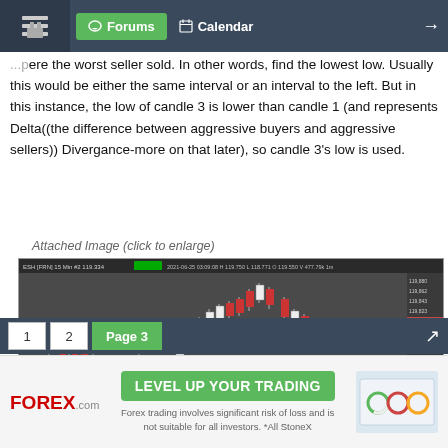Forums | Calendar
ere the worst seller sold. In other words, find the lowest low. Usually this would be either the same interval or an interval to the left. But in this instance, the low of candle 3 is lower than candle 1 (and represents Delta((the difference between aggressive buyers and aggressive sellers)) Divergance-more on that later), so candle 3's low is used.
Attached Image (click to enlarge)
[Figure (screenshot): Candlestick chart screenshot showing price action with red and white candles, annotations including 'Hollow GAP' label, numbered candles 0, 1, 2, 3, a green support zone at the bottom, and price scale on the right side ranging approximately 119,580 to 119,880. Text overlay at bottom right reads 'Apply Green Data'.]
1  2  Page 3
FOREX.com  LEVEL UP YOUR TRADING  Forex trading involves significant risk of loss and is not suitable for all investors. *All StoneX